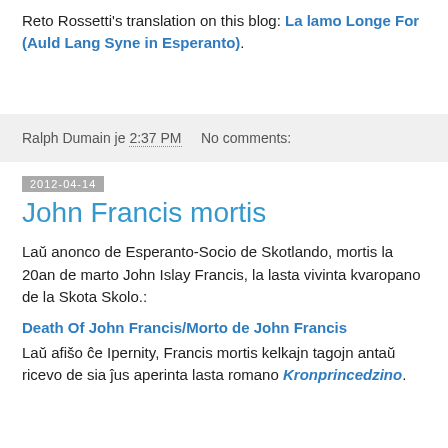Reto Rossetti's translation on this blog: La lamo Longe For (Auld Lang Syne in Esperanto).
Ralph Dumain je 2:37 PM   No comments:
2012-04-14
John Francis mortis
Laŭ anonco de Esperanto-Socio de Skotlando, mortis la 20an de marto John Islay Francis, la lasta vivinta kvaropano de la Skota Skolo.:
Death Of John Francis/Morto de John Francis
Laŭ afišo ĉe Ipernity, Francis mortis kelkajn tagojn antaŭ ricevo de sia ĵus aperinta lasta romano Kronprincedzino.